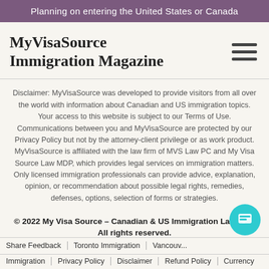Planning on entering the United States or Canada
MyVisaSource Immigration Magazine
Disclaimer: MyVisaSource was developed to provide visitors from all over the world with information about Canadian and US immigration topics. Your access to this website is subject to our Terms of Use. Communications between you and MyVisaSource are protected by our Privacy Policy but not by the attorney-client privilege or as work product. MyVisaSource is affiliated with the law firm of MVS Law PC and My Visa Source Law MDP, which provides legal services on immigration matters. Only licensed immigration professionals can provide advice, explanation, opinion, or recommendation about possible legal rights, remedies, defenses, options, selection of forms or strategies.
© 2022 My Visa Source – Canadian & US Immigration Lawyers. All rights reserved.
Share Feedback | Toronto Immigration | Vancouver Immigration | Privacy Policy | Disclaimer | Refund Policy | Currency